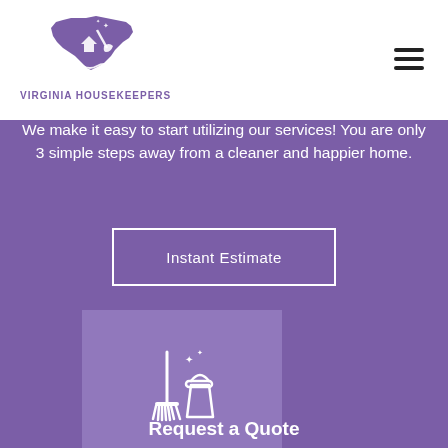[Figure (logo): Virginia Housekeepers logo: purple Virginia state silhouette with house and broom icon, sparkles, and waves at bottom. Text below reads VIRGINIA HOUSEKEEPERS.]
We make it easy to start utilizing our services! You are only 3 simple steps away from a cleaner and happier home.
Instant Estimate
[Figure (illustration): White line icon of a broom/mop and bucket with sparkle stars on a lighter purple card background]
Request a Quote